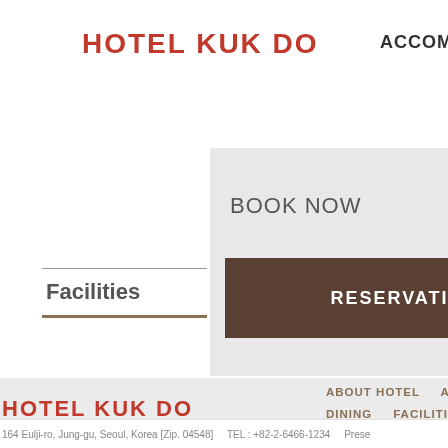HOTEL KUK DO
ACCOMMO
BOOK NOW
RESERVATION
Facilities
HOTEL KUK DO
ABOUT HOTEL   ACCOMM   DINING   FACILITIES   SP
164 Eulji-ro, Jung-gu, Seoul, Korea [Zip. 04548]   TEL : +82-2-6466-1234   Prese